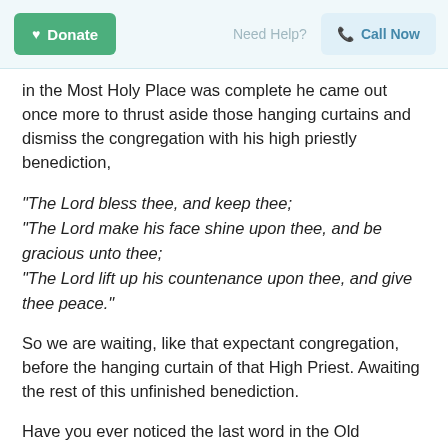Donate  Need Help?  Call Now
in the Most Holy Place was complete he came out once more to thrust aside those hanging curtains and dismiss the congregation with his high priestly benediction,
“The Lord bless thee, and keep thee;
“The Lord make his face shine upon thee, and be gracious unto thee;
“The Lord lift up his countenance upon thee, and give thee peace.”
So we are waiting, like that expectant congregation, before the hanging curtain of that High Priest. Awaiting the rest of this unfinished benediction.
Have you ever noticed the last word in the Old Testament, and compared it with the last thing in the New Testament? The Old Testament closes with a malediction. Four